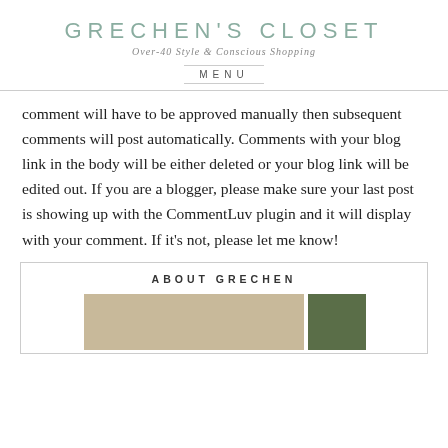GRECHEN'S CLOSET
Over-40 Style & Conscious Shopping
MENU
comment will have to be approved manually then subsequent comments will post automatically. Comments with your blog link in the body will be either deleted or your blog link will be edited out. If you are a blogger, please make sure your last post is showing up with the CommentLuv plugin and it will display with your comment. If it's not, please let me know!
ABOUT GRECHEN
[Figure (photo): Photo strip of Grechen]